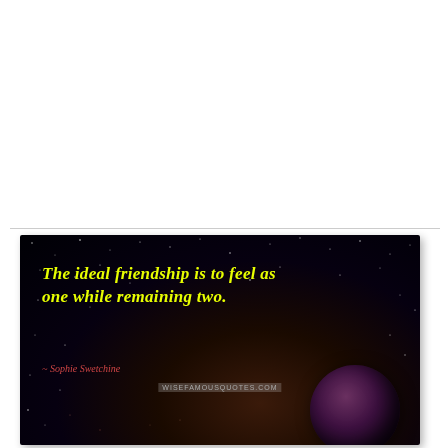[Figure (illustration): Quote card with dark space/starfield background featuring a planet in the bottom right, yellow italic bold text of a friendship quote, red attribution to Sophie Swetchine, and a wisefamousquotes.com watermark.]